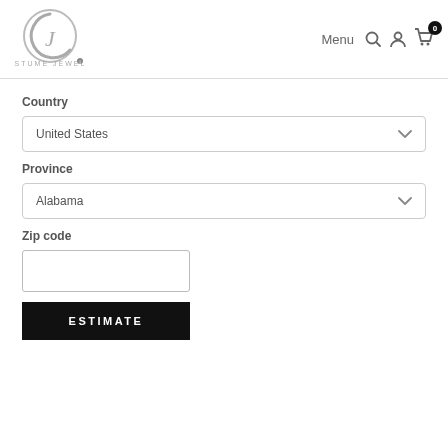[Figure (logo): Costume Jewelry logo with stylized CJ monogram in grey circle and text COSTUME JEWELRY below]
[Figure (screenshot): Navigation bar icons: Menu text, search icon, user icon, cart icon with badge showing 0]
Country
United States
Province
Alabama
Zip code
ESTIMATE